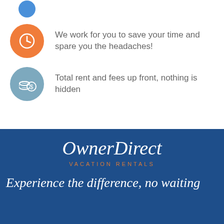[Figure (illustration): Partially visible blue circle icon at top of page (cropped)]
We work for you to save your time and spare you the headaches!
Total rent and fees up front, nothing is hidden
[Figure (logo): OwnerDirect Vacation Rentals logo with tagline 'Experience the difference, no waiting' on dark blue banner background]
$283 to $283 USD
Check Availability